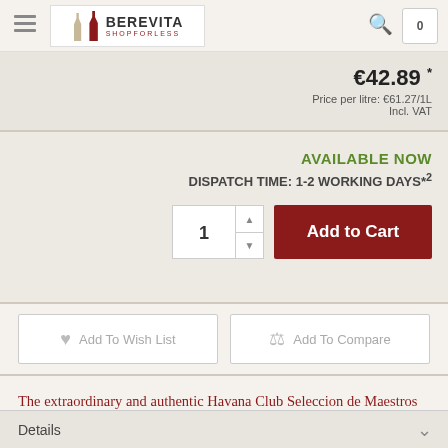Berevita Shop — navigation header with logo, search icon, cart (0)
€42.89 * Price per litre: €61.27/1L Incl. VAT
AVAILABLE NOW DISPATCH TIME: 1-2 WORKING DAYS*2
Add to Cart (quantity: 1)
Add To Wish List   Add To Compare
The extraordinary and authentic Havana Club Seleccion de Maestros Rum is a true gem with diverse flavors such as cocoa, tobacco, wood and a creamy sweetness
Details